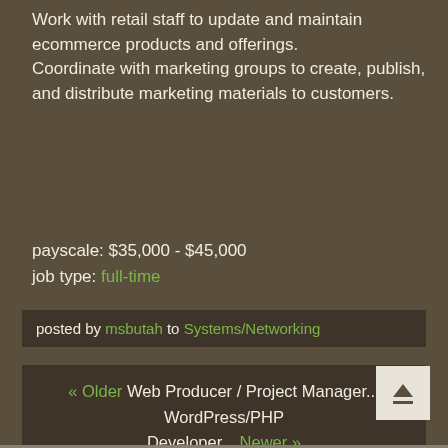Work with retail staff to update and maintain ecommerce products and offerings.
Coordinate with marketing groups to create, publish, and distribute marketing materials to customers.
payscale: $35,000 - $45,000
job type: full-time
posted by msbutah to Systems/Networking
« Older Web Producer / Project Manager... WordPress/PHP Developer... Newer »
[Figure (other): Back to top button with upward arrow icon]